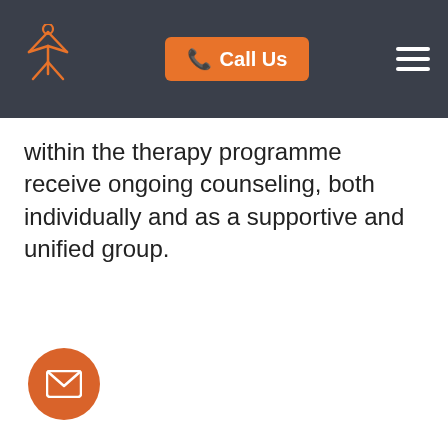Call Us
within the therapy programme receive ongoing counseling, both individually and as a supportive and unified group.
[Figure (illustration): Orange circular floating action button with a white envelope/mail icon]